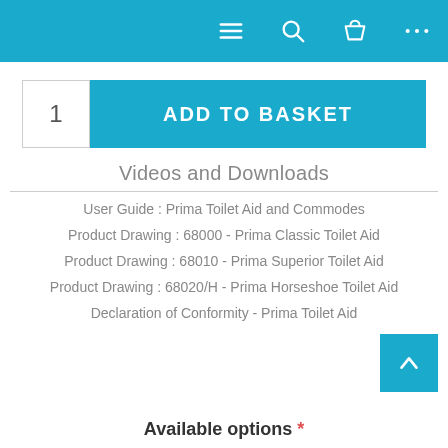Navigation bar with menu, search, basket, and more icons
1  ADD TO BASKET
Videos and Downloads
User Guide : Prima Toilet Aid and Commodes
Product Drawing : 68000 - Prima Classic Toilet Aid
Product Drawing : 68010 - Prima Superior Toilet Aid
Product Drawing : 68020/H - Prima Horseshoe Toilet Aid
Declaration of Conformity - Prima Toilet Aid
Available options *